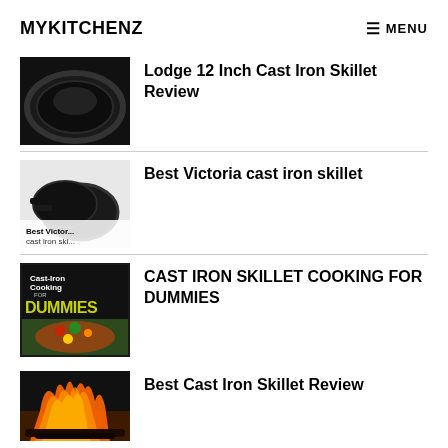MYKITCHENZ   ☰ MENU
[Figure (photo): Black cast iron skillet viewed from above on white background]
Lodge 12 Inch Cast Iron Skillet Review
[Figure (photo): Two black cast iron skillets with text overlay: Best Victoria cast iron ski]
Best Victoria cast iron skillet
[Figure (photo): Book cover: Cast-Iron Cooking for DUMMIES with food image]
CAST IRON SKILLET COOKING FOR DUMMIES
[Figure (photo): Fire and flames with cast iron skillet]
Best Cast Iron Skillet Review